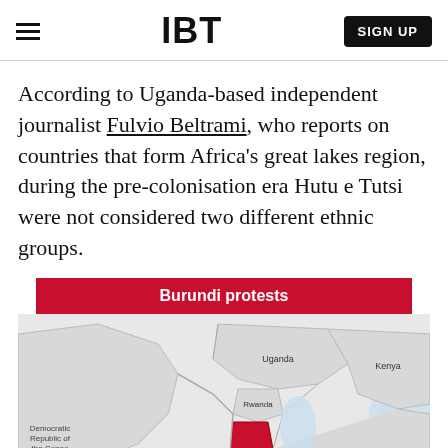IBT | SIGN UP
According to Uganda-based independent journalist Fulvio Beltrami, who reports on countries that form Africa's great lakes region, during the pre-colonisation era Hutu e Tutsi were not considered two different ethnic groups.
Burundi protests
[Figure (map): Map showing East/Central Africa region including Uganda, Kenya, Democratic Republic of the Congo, Rwanda, and Burundi highlighted in red]